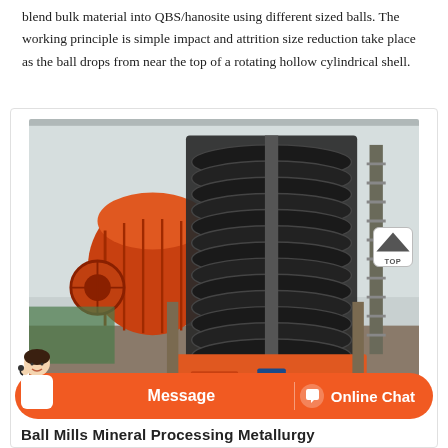blend bulk material into QBS/hanosite using different sized balls. The working principle is simple impact and attrition size reduction take place as the ball drops from near the top of a rotating hollow cylindrical shell.
[Figure (photo): Industrial photo of a spiral classifier / screw conveyor machine in a mineral processing facility. Large black helical screw mechanism is visible, with orange cylindrical ball mill equipment in the background left. Workers and industrial infrastructure visible.]
Ball Mills Mineral Processing Metallurgy